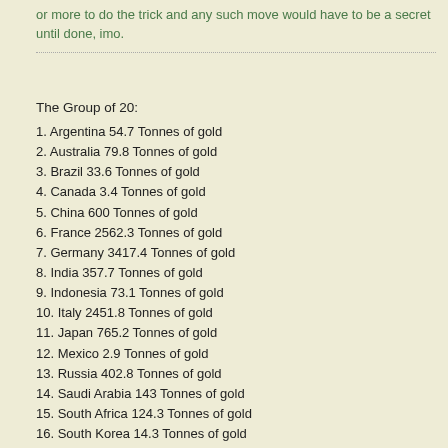or more to do the trick and any such move would have to be a secret until done, imo.
The Group of 20:
1. Argentina 54.7 Tonnes of gold
2. Australia 79.8 Tonnes of gold
3. Brazil 33.6 Tonnes of gold
4. Canada 3.4 Tonnes of gold
5. China 600 Tonnes of gold
6. France 2562.3 Tonnes of gold
7. Germany 3417.4 Tonnes of gold
8. India 357.7 Tonnes of gold
9. Indonesia 73.1 Tonnes of gold
10. Italy 2451.8 Tonnes of gold
11. Japan 765.2 Tonnes of gold
12. Mexico 2.9 Tonnes of gold
13. Russia 402.8 Tonnes of gold
14. Saudi Arabia 143 Tonnes of gold
15. South Africa 124.3 Tonnes of gold
16. South Korea 14.3 Tonnes of gold
17. Turkey 116.1 Tonnes of gold
18. United Kingdom 310.3 Tonnes of gold